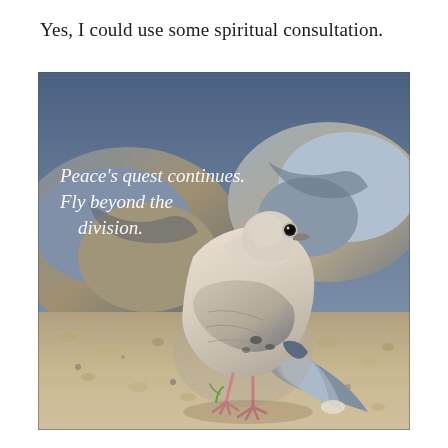Yes, I could use some spiritual consultation.
[Figure (photo): A white/cream colored mourning dove standing on sandy gravel ground with large rocks in the background. The photo has an italic white text overlay reading: "Peace's quest continues. Fly beyond the division."]